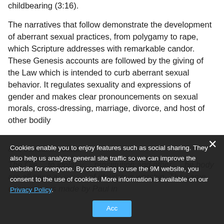childbearing (3:16).
The narratives that follow demonstrate the development of aberrant sexual practices, from polygamy to rape, which Scripture addresses with remarkable candor. These Genesis accounts are followed by the giving of the Law which is intended to curb aberrant sexual behavior. It regulates sexuality and expressions of gender and makes clear pronouncements on sexual morals, cross-dressing, marriage, divorce, and host of other bodily and sexual matters.
The Old Testament also links sexual sin to idolatry... prostitution and other... the body are all seen as parcel of idolatrous worship. The same connection is made by Paul in
Cookies enable you to enjoy features such as social sharing. They also help us analyze general site traffic so we can improve the website for everyone. By continuing to use the 9M website, you consent to the use of cookies. More information is available on our Privacy Policy.